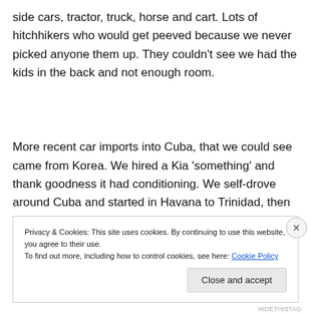side cars, tractor, truck, horse and cart. Lots of hitchhikers who would get peeved because we never picked anyone them up. They couldn't see we had the kids in the back and not enough room.
More recent car imports into Cuba, that we could see came from Korea. We hired a Kia 'something' and thank goodness it had conditioning. We self-drove around Cuba and started in Havana to Trinidad, then Playa Santa Lucia
Privacy & Cookies: This site uses cookies. By continuing to use this website, you agree to their use.
To find out more, including how to control cookies, see here: Cookie Policy
Close and accept